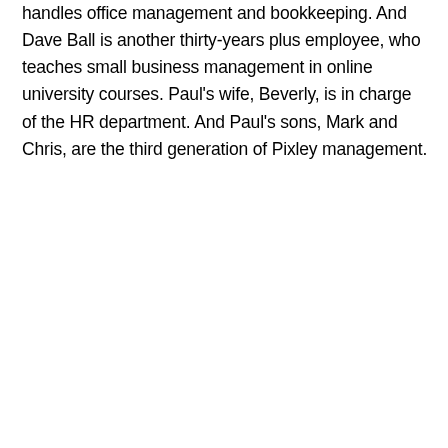handles office management and bookkeeping. And Dave Ball is another thirty-years plus employee, who teaches small business management in online university courses. Paul's wife, Beverly, is in charge of the HR department. And Paul's sons, Mark and Chris, are the third generation of Pixley management.